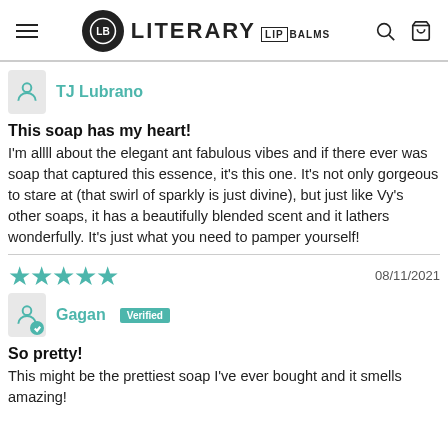Literary Lip Balms
TJ Lubrano
This soap has my heart!
I'm allll about the elegant ant fabulous vibes and if there ever was soap that captured this essence, it's this one. It's not only gorgeous to stare at (that swirl of sparkly is just divine), but just like Vy's other soaps, it has a beautifully blended scent and it lathers wonderfully. It's just what you need to pamper yourself!
08/11/2021
Gagan Verified
So pretty!
This might be the prettiest soap I've ever bought and it smells amazing!